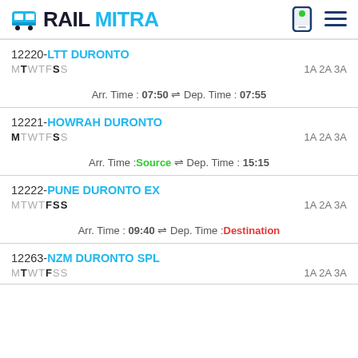RAILMITRA
12220-LTT DURONTO
MTWTFSS  1A 2A 3A
Arr. Time : 07:50 ⇌ Dep. Time : 07:55
12221-HOWRAH DURONTO
MTWTFSS  1A 2A 3A
Arr. Time : Source ⇌ Dep. Time : 15:15
12222-PUNE DURONTO EX
MTWTFSS  1A 2A 3A
Arr. Time : 09:40 ⇌ Dep. Time : Destination
12263-NZM DURONTO SPL
MTWTFSS  1A 2A 3A